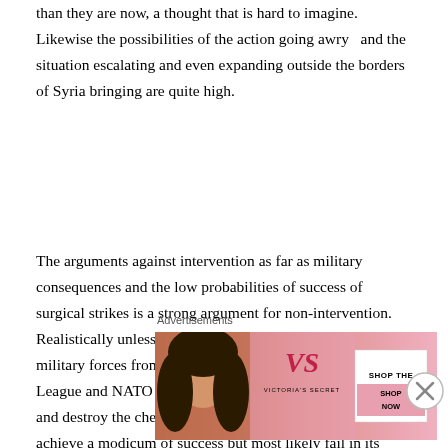than they are now, a thought that is hard to imagine. Likewise the possibilities of the action going awry  and the situation escalating and even expanding outside the borders of Syria bringing are quite high.
The arguments against intervention as far as military consequences and the low probabilities of success of surgical strikes is a strong argument for non-intervention. Realistically unless there is the participation of major military forces from many nations back by the UN, the Arab League and NATO with boots on the ground to find, secure and destroy the chemical weapons a military strike may achieve a modicum of success but most likely fail in its ultimate goal. The result would be that the situation
Advertisements
[Figure (photo): Victoria's Secret advertisement banner showing a woman with curly hair on the left, Victoria's Secret logo in the center, and 'SHOP THE COLLECTION' text with a 'SHOP NOW' button on the right, on a pink background.]